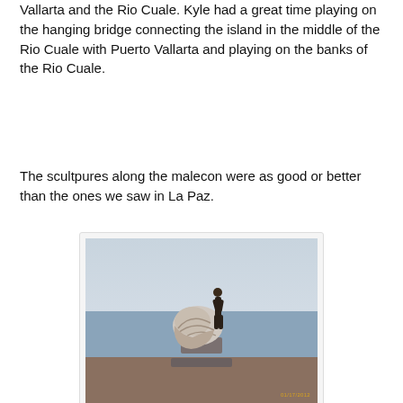Vallarta and the Rio Cuale. Kyle had a great time playing on the hanging bridge connecting the island in the middle of the Rio Cuale with Puerto Vallarta and playing on the banks of the Rio Cuale.
The scultpures along the malecon were as good or better than the ones we saw in La Paz.
[Figure (photo): A sculpture on the malecon in Puerto Vallarta showing a large conch shell with a human figure, set on a stone pedestal with the ocean and overcast sky in the background. A timestamp reading 01/17/2012 is visible in the lower right corner.]